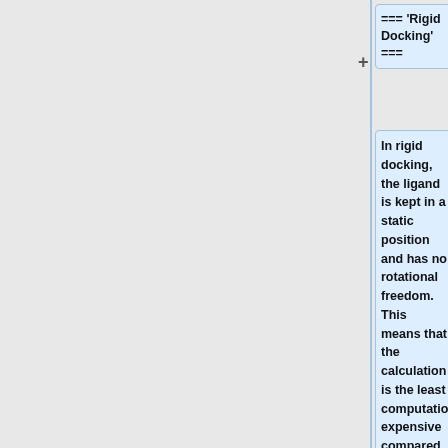=== '''Rigid Docking''' ===
In rigid docking, the ligand is kept in a static position and has no rotational freedom. This means that the calculation is the least computationally expensive compared to the other forms of docking we will be performing. Before beginning, make sure you